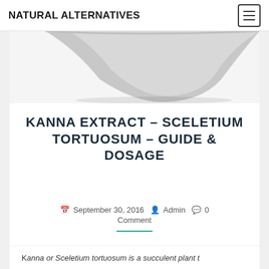NATURAL ALTERNATIVES
[Figure (photo): Partial view of a gray ceramic or stone bowl photographed from above against a white background]
KANNA EXTRACT – SCELETIUM TORTUOSUM – GUIDE & DOSAGE
September 30, 2016  Admin  0 Comment
K... (partial text cut off at bottom)